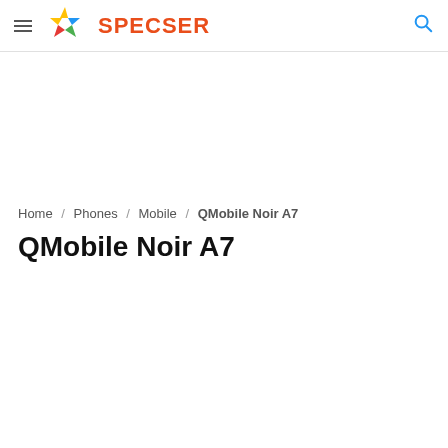SPECSER
Home / Phones / Mobile / QMobile Noir A7
QMobile Noir A7